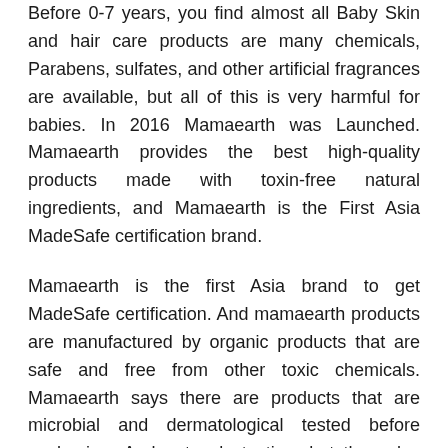Before 0-7 years, you find almost all Baby Skin and hair care products are many chemicals, Parabens, sulfates, and other artificial fragrances are available, but all of this is very harmful for babies. In 2016 Mamaearth was Launched. Mamaearth provides the best high-quality products made with toxin-free natural ingredients, and Mamaearth is the First Asia MadeSafe certification brand.
Mamaearth is the first Asia brand to get MadeSafe certification. And mamaearth products are manufactured by organic products that are safe and free from other toxic chemicals. Mamaearth says there are products that are microbial and dermatological tested before packaging. And not only testing, but they also have a panel of mothers who test every product, provide honest feedback, and improve quality.